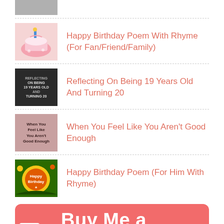[Figure (photo): Partial thumbnail image at top, mostly cropped]
Happy Birthday Poem With Rhyme (For Fan/Friend/Family)
Reflecting On Being 19 Years Old And Turning 20
When You Feel Like You Aren't Good Enough
Happy Birthday Poem (For Him With Rhyme)
[Figure (illustration): Buy Me a Coffee button with heart-and-cup logo on salmon/coral background]